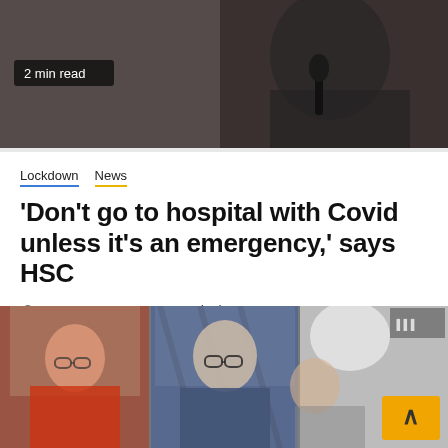[Figure (photo): Dark background screenshot showing a person in a suit near a microphone, top portion of a news article page with '2 min read' badge overlay]
Lockdown  News
‘Don’t go to hospital with Covid unless it’s an emergency,’ says HSC
2 years ago   Emma Pinch
Dr Peter Rabey, Medical Director for the Committee for Health & Social Care, urged people not to present themselves at...
[Figure (screenshot): Three-panel video call screenshot showing three people: woman in red on left, man in suit in center, partial figure on right with scroll-to-top button overlay]